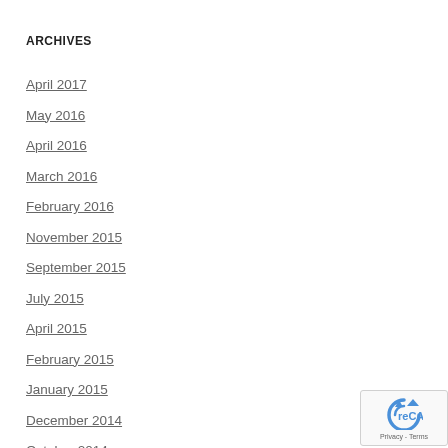ARCHIVES
April 2017
May 2016
April 2016
March 2016
February 2016
November 2015
September 2015
July 2015
April 2015
February 2015
January 2015
December 2014
October 2014
September 2014
August 2014
July 2014
[Figure (other): reCAPTCHA privacy badge with circular arrow icon and Privacy - Terms text]